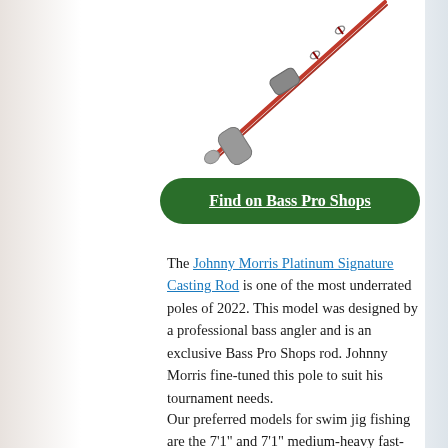[Figure (illustration): A fishing casting rod shown diagonally, red and gray colored, with reel seat visible, against white background. A hamburger menu icon button is in the top right corner.]
Find on Bass Pro Shops
The Johnny Morris Platinum Signature Casting Rod is one of the most under-rated poles of 2022. This model was designed by a professional bass angler and is an exclusive Bass Pro Shops rod. Johnny Morris fine-tuned this pole to suit his tournament needs.
Our preferred models for swim jig fishing are the 7'1" and 7'1" medium-heavy fast-